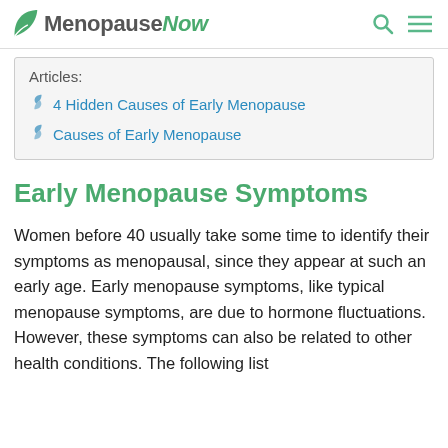MenopauseNow
Articles:
4 Hidden Causes of Early Menopause
Causes of Early Menopause
Early Menopause Symptoms
Women before 40 usually take some time to identify their symptoms as menopausal, since they appear at such an early age. Early menopause symptoms, like typical menopause symptoms, are due to hormone fluctuations. However, these symptoms can also be related to other health conditions. The following list